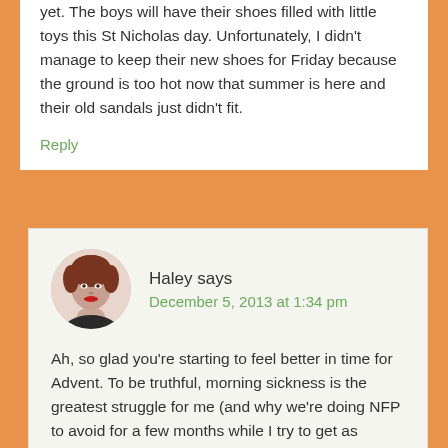yet. The boys will have their shoes filled with little toys this St Nicholas day. Unfortunately, I didn't manage to keep their new shoes for Friday because the ground is too hot now that summer is here and their old sandals just didn't fit.
Reply
Haley says
December 5, 2013 at 1:34 pm
[Figure (photo): Circular avatar photo of a woman with short reddish-brown hair and red lipstick]
Ah, so glad you're starting to feel better in time for Advent. To be truthful, morning sickness is the greatest struggle for me (and why we're doing NFP to avoid for a few months while I try to get as healthy as possible to HOPEFULLY improve matters during the next pregnancy, God willing.) So